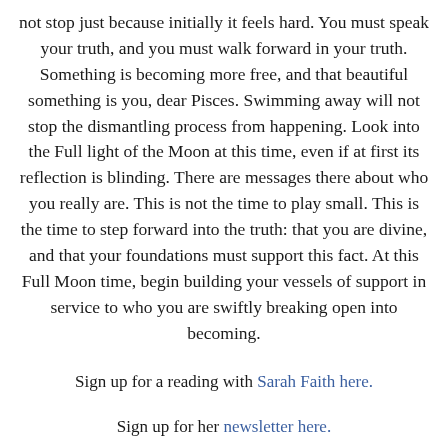not stop just because initially it feels hard. You must speak your truth, and you must walk forward in your truth. Something is becoming more free, and that beautiful something is you, dear Pisces. Swimming away will not stop the dismantling process from happening. Look into the Full light of the Moon at this time, even if at first its reflection is blinding. There are messages there about who you really are. This is not the time to play small. This is the time to step forward into the truth: that you are divine, and that your foundations must support this fact. At this Full Moon time, begin building your vessels of support in service to who you are swiftly breaking open into becoming.
Sign up for a reading with Sarah Faith here.
Sign up for her newsletter here.